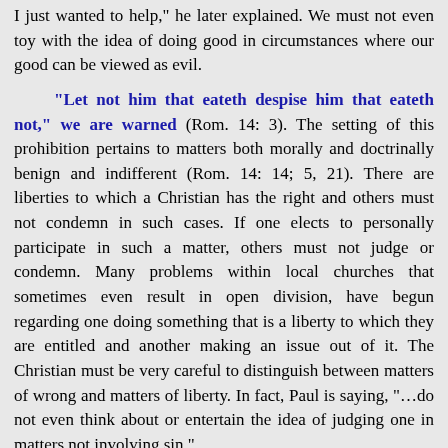I just wanted to help," he later explained. We must not even toy with the idea of doing good in circumstances where our good can be viewed as evil.
"Let not him that eateth despise him that eateth not," we are warned (Rom. 14: 3). The setting of this prohibition pertains to matters both morally and doctrinally benign and indifferent (Rom. 14: 14; 5, 21). There are liberties to which a Christian has the right and others must not condemn in such cases. If one elects to personally participate in such a matter, others must not judge or condemn. Many problems within local churches that sometimes even result in open division, have begun regarding one doing something that is a liberty to which they are entitled and another making an issue out of it. The Christian must be very careful to distinguish between matters of wrong and matters of liberty. In fact, Paul is saying, "…do not even think about or entertain the idea of judging one in matters not involving sin."
"Let not the sun go down upon your wrath," the Christian is told (Eph. 4: 26). Not all anger is wrong (Mk.